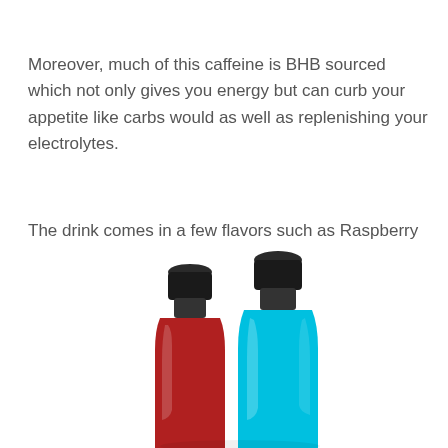Moreover, much of this caffeine is BHB sourced which not only gives you energy but can curb your appetite like carbs would as well as replenishing your electrolytes.
The drink comes in a few flavors such as Raspberry Lemonade, as well as Vanilla, which means you can mix and match the flavors of your protein shake with the flavors of this energy drink.
[Figure (photo): Two sports drink bottles — one red/dark and one bright blue — with black caps, photographed from above at an angle on a white background.]